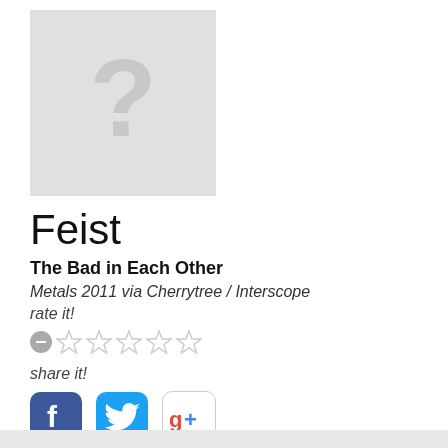[Figure (illustration): Light gray placeholder image with a large question mark in the center, representing a missing album art cover]
Feist
The Bad in Each Other
Metals 2011 via Cherrytree / Interscope
rate it!
[Figure (other): Star rating widget with a minus/clear button and 5 empty star icons]
share it!
[Figure (other): Social share buttons: Facebook, Twitter, Google+]